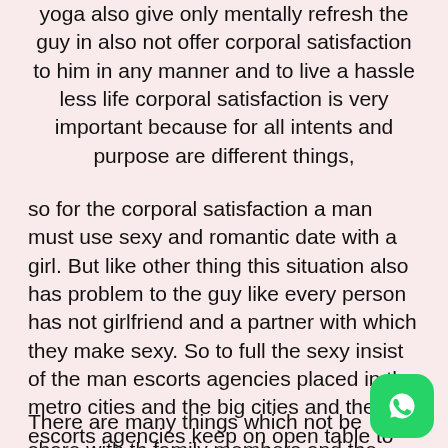yoga also give only mentally refresh the guy in also not offer corporal satisfaction to him in any manner and to live a hassle less life corporal satisfaction is very important because for all intents and purpose are different things,
so for the corporal satisfaction a man must use sexy and romantic date with a girl. But like other thing this situation also has problem to the guy like every person has not girlfriend and a partner with which they make sexy. So to full the sexy insist of the man escorts agencies placed in the metro cities and the big cities and these escorts agencies keep on open table to all the people. Some of the man keep body and soul together only keep the pot boiling but my dear this is not enough to live the like goodly and full of glee to live the life properly entertainment is very essential to the guy and the entertainment with a good looking girl give more pleasure to the user.
There are many things which not be share with the family members and the friends to share those things
[Figure (other): WhatsApp contact button (green rounded square with white phone/chat icon)]